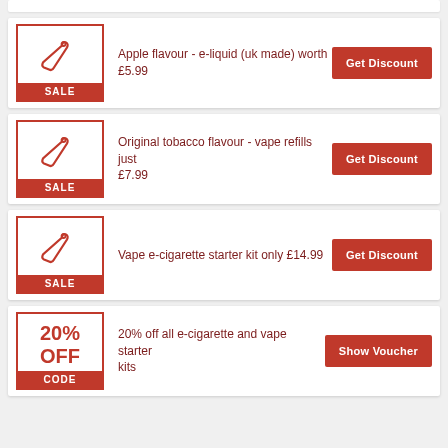Apple flavour - e-liquid (uk made) worth £5.99 — Get Discount
Original tobacco flavour - vape refills just £7.99 — Get Discount
Vape e-cigarette starter kit only £14.99 — Get Discount
20% off all e-cigarette and vape starter kits — Show Voucher